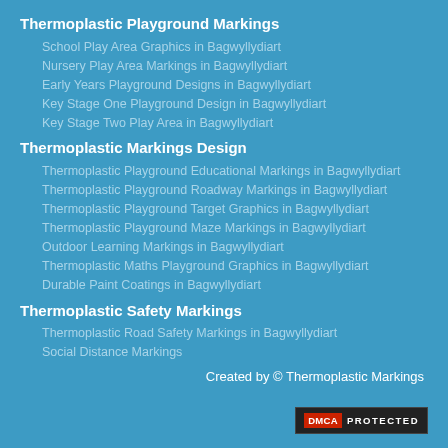Thermoplastic Playground Markings
School Play Area Graphics in Bagwyllydiart
Nursery Play Area Markings in Bagwyllydiart
Early Years Playground Designs in Bagwyllydiart
Key Stage One Playground Design in Bagwyllydiart
Key Stage Two Play Area in Bagwyllydiart
Thermoplastic Markings Design
Thermoplastic Playground Educational Markings in Bagwyllydiart
Thermoplastic Playground Roadway Markings in Bagwyllydiart
Thermoplastic Playground Target Graphics in Bagwyllydiart
Thermoplastic Playground Maze Markings in Bagwyllydiart
Outdoor Learning Markings in Bagwyllydiart
Thermoplastic Maths Playground Graphics in Bagwyllydiart
Durable Paint Coatings in Bagwyllydiart
Thermoplastic Safety Markings
Thermoplastic Road Safety Markings in Bagwyllydiart
Social Distance Markings
Created by © Thermoplastic Markings